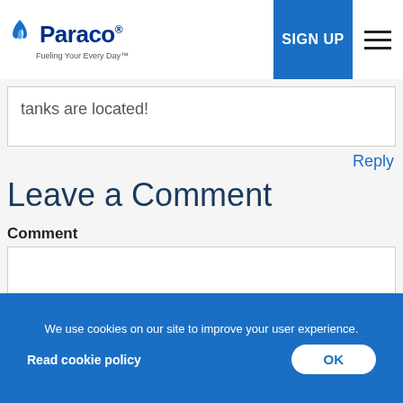Paraco — Fueling Your Every Day™  |  SIGN UP  |  Menu
tanks are located!
Reply
Leave a Comment
Comment
Name (required)
We use cookies on our site to improve your user experience.
Read cookie policy
OK